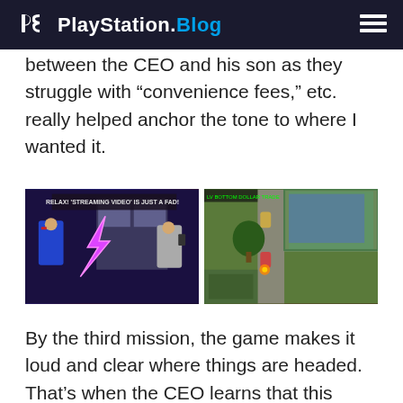PlayStation.Blog
between the CEO and his son as they struggle with “convenience fees,” etc. really helped anchor the tone to where I wanted it.
[Figure (screenshot): Two side-by-side video game screenshots. Left: pixel art showing two suited characters with a lightning bolt between them, text reads 'RELAX! STREAMING VIDEO IS JUST A FAD!'. Right: top-down isometric game scene with characters and buildings.]
By the third mission, the game makes it loud and clear where things are headed. That’s when the CEO learns that this newfangled thing called “online shopping” is killing his retail stores! Naturally, his solution is to put on